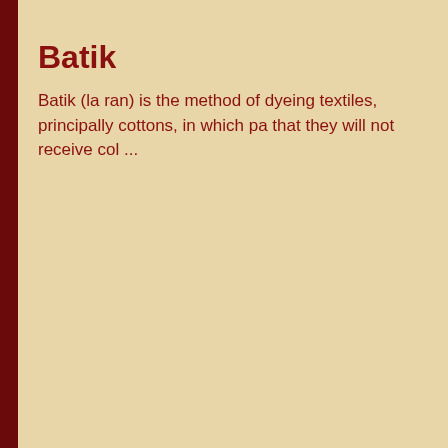Batik
Batik (la ran) is the method of dyeing textiles, principally cottons, in which pa that they will not receive col ...